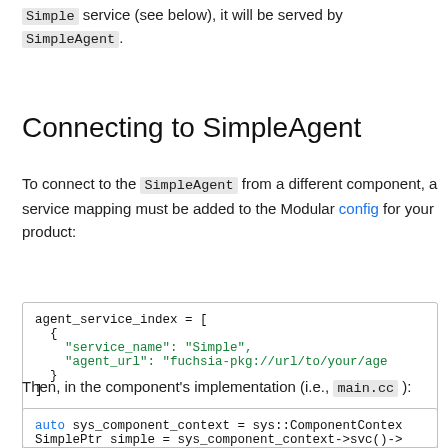Simple service (see below), it will be served by SimpleAgent.
Connecting to SimpleAgent
To connect to the SimpleAgent from a different component, a service mapping must be added to the Modular config for your product:
agent_service_index = [
  {
    "service_name": "Simple",
    "agent_url": "fuchsia-pkg://url/to/your/agen
  }
]
Then, in the component's implementation (i.e., main.cc ):
auto sys_component_context = sys::ComponentContex
SimplePtr simple = sys_component_context->svc()->